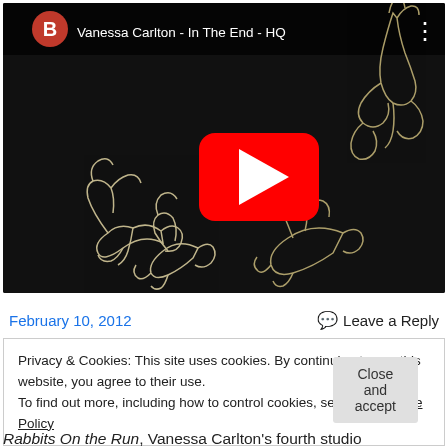[Figure (screenshot): YouTube video embed showing 'Vanessa Carlton - In The End - HQ' with a dark background featuring line-art illustrations of running rabbits, a red YouTube play button in the center, and the channel avatar (letter B on red circle) in the top-left corner.]
February 10, 2012
Leave a Reply
Privacy & Cookies: This site uses cookies. By continuing to use this website, you agree to their use.
To find out more, including how to control cookies, see here: Cookie Policy
Close and accept
Rabbits On the Run, Vanessa Carlton's fourth studio